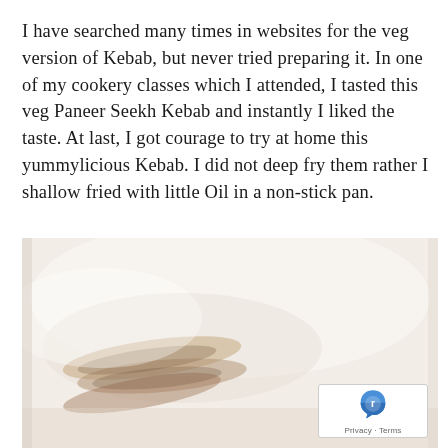I have searched many times in websites for the veg version of Kebab, but never tried preparing it. In one of my cookery classes which I attended, I tasted this veg Paneer Seekh Kebab and instantly I liked the taste. At last, I got courage to try at home this yummylicious Kebab. I did not deep fry them rather I shallow fried with little Oil in a non-stick pan.
[Figure (photo): A faded/washed-out food photograph showing what appears to be Paneer Seekh Kebabs on a surface, with a reCAPTCHA privacy badge overlaid in the bottom-right corner.]